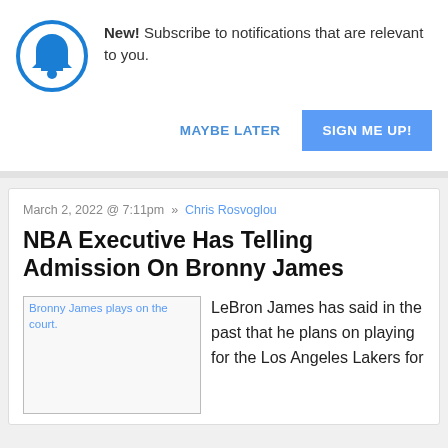[Figure (illustration): Blue bell icon inside a blue circle, representing notifications]
New! Subscribe to notifications that are relevant to you.
MAYBE LATER
SIGN ME UP!
March 2, 2022 @ 7:11pm » Chris Rosvoglou
NBA Executive Has Telling Admission On Bronny James
[Figure (photo): Bronny James plays on the court.]
LeBron James has said in the past that he plans on playing for the Los Angeles Lakers for